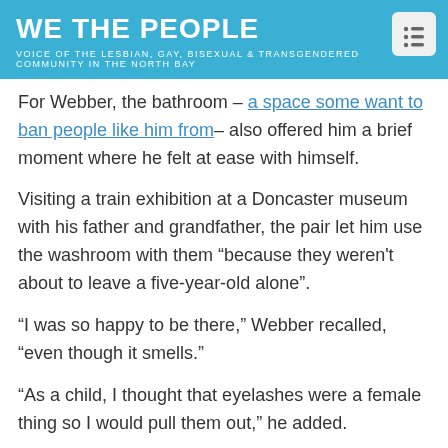WE THE PEOPLE
VOICE OF THE LESBIAN, GAY, BISEXUAL & TRANSGENDERED COMMUNITY IN THE NORTH BAY
For Webber, the bathroom – a space some want to ban people like him from– also offered him a brief moment where he felt at ease with himself.
Visiting a train exhibition at a Doncaster museum with his father and grandfather, the pair let him use the washroom with them "because they weren't about to leave a five-year-old alone".
“I was so happy to be there,” Webber recalled, “even though it smells.”
“As a child, I thought that eyelashes were a female thing so I would pull them out,” he added.
“So now they’re very thin because when you pull them out